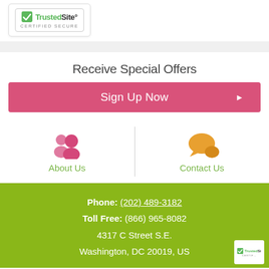[Figure (logo): TrustedSite Certified Secure badge with green checkmark]
Receive Special Offers
Sign Up Now ▶
[Figure (illustration): Pink people/group icon for About Us section]
About Us
[Figure (illustration): Orange speech bubble chat icon for Contact Us section]
Contact Us
Phone: (202) 489-3182 Toll Free: (866) 965-8082 4317 C Street S.E. Washington, DC 20019, US